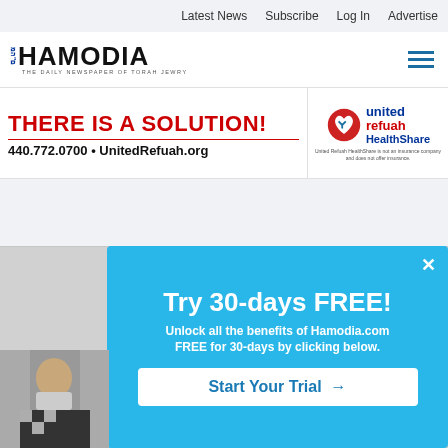Latest News  Subscribe  Log In  Advertise
[Figure (logo): Hamodia newspaper logo with Hebrew text and tagline 'THE DAILY NEWSPAPER OF TORAH JEWRY']
[Figure (infographic): United Refuah HealthShare advertisement banner: 'THERE IS A SOLUTION!' in red, '440.772.0700 • UnitedRefuah.org', United Refuah HealthShare logo with heart icon. Disclaimer: 'United Refuah HealthShare is not an insurance company and does not offer insurance.']
BUT WAIT, THERE'S MORE
[Figure (screenshot): Popup modal with cyan/blue background: 'Try 30-days FREE!' headline, subtext 'Unlock all the benefits of Hamodia.com FREE for 30-days by clicking below.' and a 'Start Your Trial →' button. Close X in top right corner.]
[Figure (photo): Partial photo of a person wearing a mask, visible at bottom left of page.]